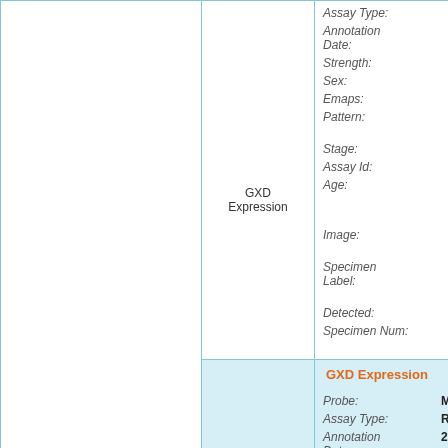| (left column) | GXD Expression | Fields |
| --- | --- | --- |
|  | GXD Expression | Assay Type: RN... | Annotation Date: 20... | Strength: Mo... | Sex: No... | Emaps: EM... | Pattern: Re... res... | Stage: TS... | Assay Id: MG... | Age: em... 14... | Image: EH... Sp... C2... | Specimen Label: EH... Sp... C2... | Detected: tru... | Specimen Num: 1 |
|  | GXD Expression | Probe: MG... | Assay Type: RN... | Annotation Date: 20... |